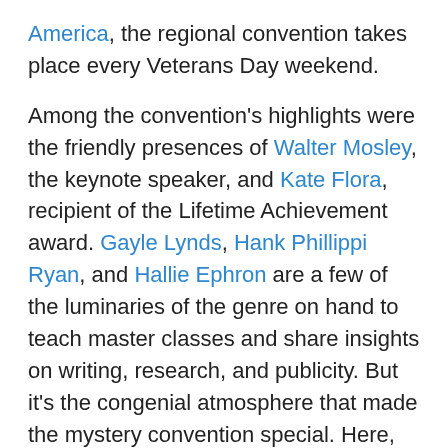America, the regional convention takes place every Veterans Day weekend.
Among the convention's highlights were the friendly presences of Walter Mosley, the keynote speaker, and Kate Flora, recipient of the Lifetime Achievement award. Gayle Lynds, Hank Phillippi Ryan, and Hallie Ephron are a few of the luminaries of the genre on hand to teach master classes and share insights on writing, research, and publicity. But it's the congenial atmosphere that made the mystery convention special. Here, unpublished writers and established authors are equal peers, supporting one another and always striving to hone their craft.
In fact, I got to be a panelist with Kate to discus short stories. There I met up with prolific Stephen Rogers and met Lorraine Nelson, both of whom have published in